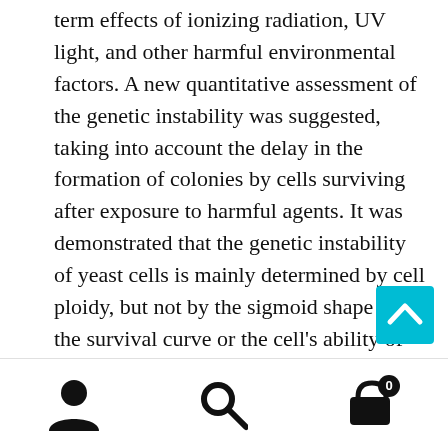term effects of ionizing radiation, UV light, and other harmful environmental factors. A new quantitative assessment of the genetic instability was suggested, taking into account the delay in the formation of colonies by cells surviving after exposure to harmful agents. It was demonstrated that the genetic instability of yeast cells is mainly determined by cell ploidy, but not by the sigmoid shape of the survival curve or the cell's ability of post-irradiation recovery. New experimental data confirm the participation of recovery processes in the manifestation of the relative biological effectiveness of densely ionizing radiation both for cell inactivation and for radiation-induced genetic instability.
A number of universal patterns of synergic interactions
[Figure (other): Teal/cyan square button with upward-pointing chevron arrow (scroll-to-top button)]
User icon | Search icon | Cart icon with badge 0